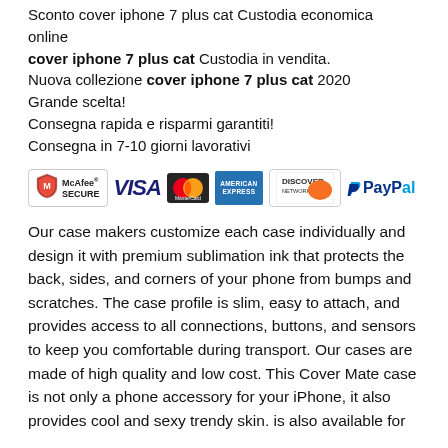Sconto cover iphone 7 plus cat Custodia economica online
cover iphone 7 plus cat Custodia in vendita.
Nuova collezione cover iphone 7 plus cat 2020
Grande scelta!
Consegna rapida e risparmi garantiti!
Consegna in 7-10 giorni lavorativi
[Figure (infographic): Payment method logos: McAfee SECURE, VISA, MasterCard, American Express, Discover Network, PayPal]
Our case makers customize each case individually and design it with premium sublimation ink that protects the back, sides, and corners of your phone from bumps and scratches. The case profile is slim, easy to attach, and provides access to all connections, buttons, and sensors to keep you comfortable during transport. Our cases are made of high quality and low cost. This Cover Mate case is not only a phone accessory for your iPhone, it also provides cool and sexy trendy skin. is also available for